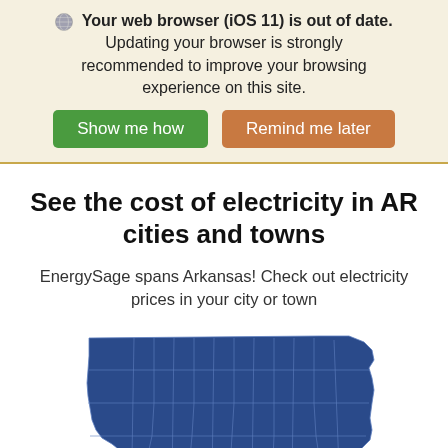Your web browser (iOS 11) is out of date. Updating your browser is strongly recommended to improve your browsing experience on this site.
Show me how | Remind me later
See the cost of electricity in AR cities and towns
EnergySage spans Arkansas! Check out electricity prices in your city or town
[Figure (map): Blue choropleth map of Arkansas state showing county boundaries in a slightly lighter blue outline on a dark blue fill.]